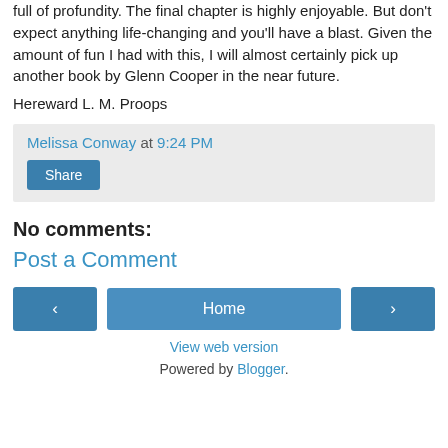full of profundity. The final chapter is highly enjoyable. But don't expect anything life-changing and you'll have a blast. Given the amount of fun I had with this, I will almost certainly pick up another book by Glenn Cooper in the near future.
Hereward L. M. Proops
Melissa Conway at 9:24 PM
Share
No comments:
Post a Comment
‹  Home  ›
View web version
Powered by Blogger.